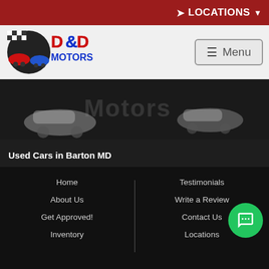LOCATIONS
[Figure (logo): D&D Motors logo with cartoon cars and checkered flag]
[Figure (photo): Dark hero banner with cartoon car images and D&D Motors logo watermark]
Used Cars in Barton MD
D&D Motors has one of the largest selections of pre-owned vehicles in the Tri-State area! If you are looking for a lightly used, pre-owned vehicle, then you have come to the right place! D&D Motors, has two great locations to
Home | About Us | Get Approved! | Inventory | Testimonials | Write a Review | Contact Us | Locations